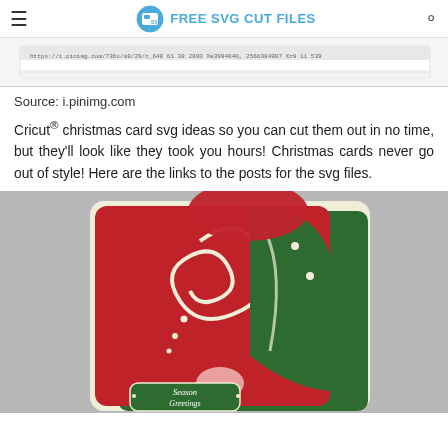FREE SVG CUT FILES
[Figure (screenshot): Top strip showing a partial screenshot of a Cricut mat or ruler with text]
Source: i.pinimg.com
Cricut® christmas card svg ideas so you can cut them out in no time, but they'll look like they took you hours! Christmas cards never go out of style! Here are the links to the posts for the svg files.
[Figure (photo): Photo of a Christmas gnome SVG card with red and green layered paper design, spiral swirl decoration, and 'Season Greetings' text at bottom]